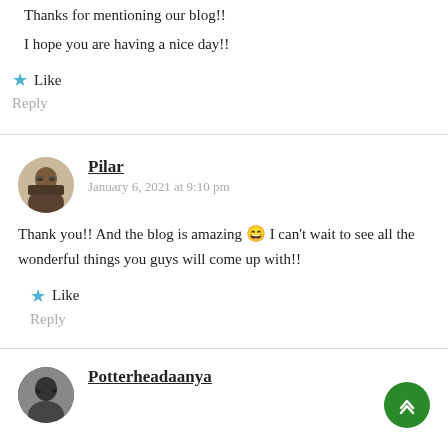Awesome post!!!
Thanks for mentioning our blog!!
I hope you are having a nice day!!
★ Like
Reply
Pilar
January 6, 2021 at 9:10 pm
Thank you!! And the blog is amazing 😄 I can't wait to see all the wonderful things you guys will come up with!!
★ Like
Reply
Potterheadaanya